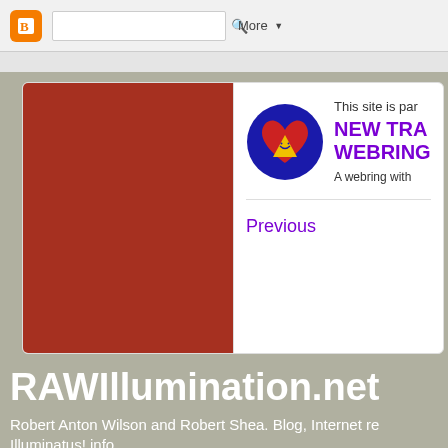Blogger navigation bar with search and More button
[Figure (screenshot): Blogger/Google top navigation bar with orange Blogger icon, search box, and More dropdown]
[Figure (illustration): New Trajectories Webring widget card with red panel on left, circular logo (blue circle with red heart, yellow triangle, smiley face), purple bold text 'NEW TRA... WEBRING', text 'This site is par...' and 'A webring with...' and 'Previous' link in purple]
RAWIllumination.net
Robert Anton Wilson and Robert Shea. Blog, Internet re... Illuminatus! info.
MONDAY, APRIL 20, 2015